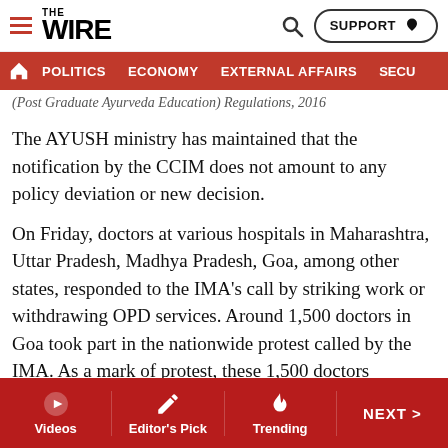THE WIRE — navigation header with POLITICS, ECONOMY, EXTERNAL AFFAIRS, SECU...
(Post Graduate Ayurveda Education) Regulations, 2016
The AYUSH ministry has maintained that the notification by the CCIM does not amount to any policy deviation or new decision.
On Friday, doctors at various hospitals in Maharashtra, Uttar Pradesh, Madhya Pradesh, Goa, among other states, responded to the IMA's call by striking work or withdrawing OPD services. Around 1,500 doctors in Goa took part in the nationwide protest called by the IMA. As a mark of protest, these 1,500 doctors attended to only emergency cases, IMA's Goa unit president Dr A. Samuel told PTI.
An IMA delegation met Union Minister of State for AYUSH,
Videos | Editor's Pick | Trending | NEXT >